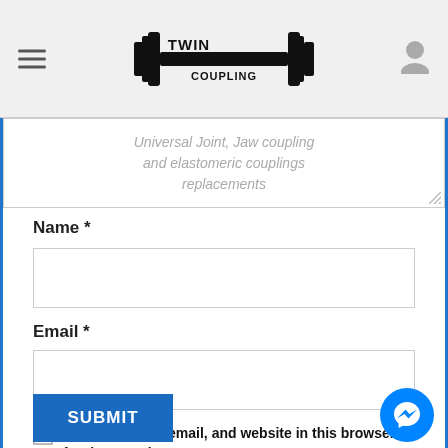[Figure (logo): Twin Spring Coupling logo with barbell/spring graphic and text TWIN SPRING COUPLING]
Universal Joint, Jaw coupling and elastomeric couplings replacements
Name *
Email *
Save my name, email, and website in this browser for the next time I comment.
SUBMIT